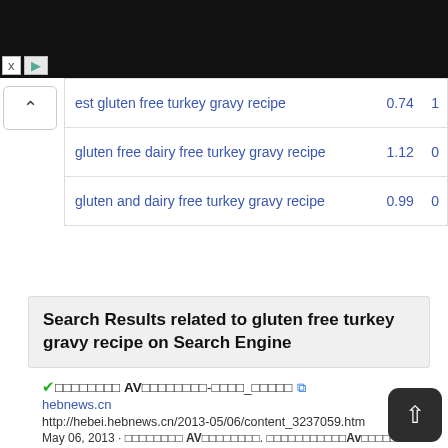| Keyword | CPC | Vol |
| --- | --- | --- |
| est gluten free turkey gravy recipe | 0.74 | 1 |
| gluten free dairy free turkey gravy recipe | 1.12 | 0 |
| gluten and dairy free turkey gravy recipe | 0.99 | 0 |
Search Results related to gluten free turkey gravy recipe on Search Engine
✓□□□□□□□□ AV□□□□□□□□-□□□□_□□□□□ 🔗
hebnews.cn
http://hebei.hebnews.cn/2013-05/06/content_3237059.htm
May 06, 2013 · □□□□□□□□ AV□□□□□□□□. □□□□□□□□□□□Av□□□□□□□□□□□□□□□□